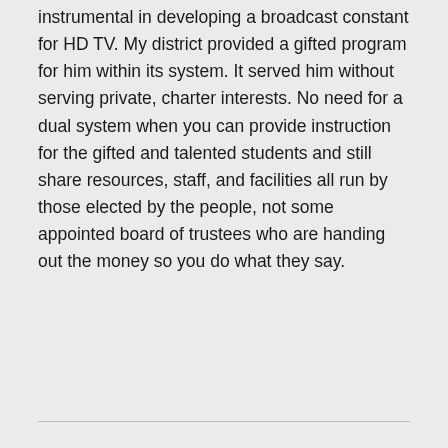instrumental in developing a broadcast constant for HD TV. My district provided a gifted program for him within its system. It served him without serving private, charter interests. No need for a dual system when you can provide instruction for the gifted and talented students and still share resources, staff, and facilities all run by those elected by the people, not some appointed board of trustees who are handing out the money so you do what they say.